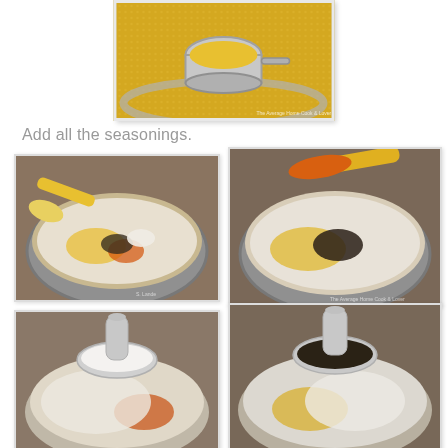[Figure (photo): A metal measuring cup sitting in a bowl of yellow cornmeal, viewed from above]
Add all the seasonings.
[Figure (photo): A mixing bowl with flour, eggs, and seasonings including pepper and orange spice, with a yellow spatula]
[Figure (photo): A bowl with flour and a pile of dark pepper/herb seasoning, with a yellow spoon holding orange spice powder (turmeric)]
[Figure (photo): A spoon holding white powder (baking powder or salt) over a bowl with orange and flour mixture]
[Figure (photo): A spoon holding dark ground black pepper over a bowl with flour and eggs]